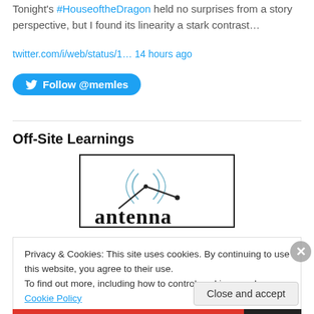Tonight's #HouseoftheDragon held no surprises from a story perspective, but I found its linearity a stark contrast…
twitter.com/i/web/status/1… 14 hours ago
Follow @memles
Off-Site Learnings
[Figure (logo): Antenna logo: stylized antenna with signal waves, text 'antenna' below, inside a black border rectangle]
Privacy & Cookies: This site uses cookies. By continuing to use this website, you agree to their use.
To find out more, including how to control cookies, see here: Cookie Policy
Close and accept